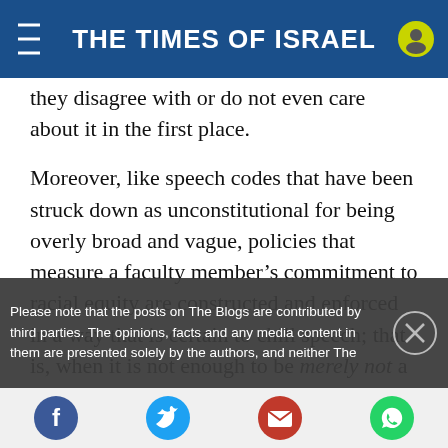THE TIMES OF ISRAEL
they disagree with or do not even care about it in the first place.
Moreover, like speech codes that have been struck down as unconstitutional for being overly broad and vague, policies that measure a faculty member's commitment to racial equity are constructed and enforced in a way that is certain to chill speech; that is, when it is not enough to be merely not a racist and one is required to be anti
Please note that the posts on The Blogs are contributed by third parties. The opinions, facts and any media content in them are presented solely by the authors, and neither The